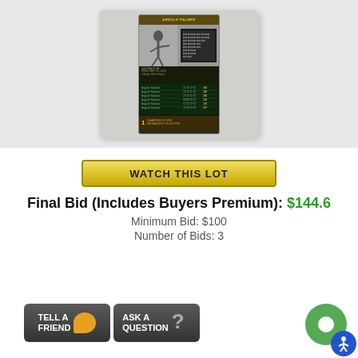[Figure (photo): Arnold Palmer trading card (Champions of Golf / The Masters Collection) in a clear plastic holder, photographed against a light gray background]
[Figure (other): Yellow gradient 'WATCH THIS LOT' button]
Final Bid (Includes Buyers Premium): $144.6
Minimum Bid: $100
Number of Bids: 3
[Figure (other): 'Tell A Friend' button with orange speech bubble icon and 'Ask A Question' button with question mark icon, plus green chat circle and blue accessibility icon]